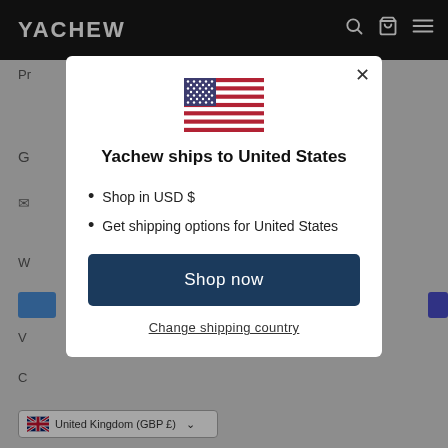YACHEW
[Figure (screenshot): Modal dialog on Yachew e-commerce website showing US flag and country shipping selector]
Yachew ships to United States
Shop in USD $
Get shipping options for United States
Shop now
Change shipping country
United Kingdom (GBP £)